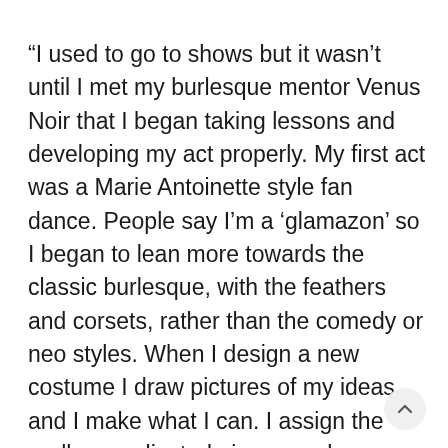“I used to go to shows but it wasn’t until I met my burlesque mentor Venus Noir that I began taking lessons and developing my act properly. My first act was a Marie Antoinette style fan dance. People say I’m a ‘glamazon’ so I began to lean more towards the classic burlesque, with the feathers and corsets, rather than the comedy or neo styles. When I design a new costume I draw pictures of my ideas and I make what I can. I assign the really complicated pieces such as corsets and gowns to costumiers. It’s worth investing in amazing costumes. A well-made corset will last forever and hopefully will someday be found in a dusty box in an attic, ready to inspire burlesque performers of the future.”